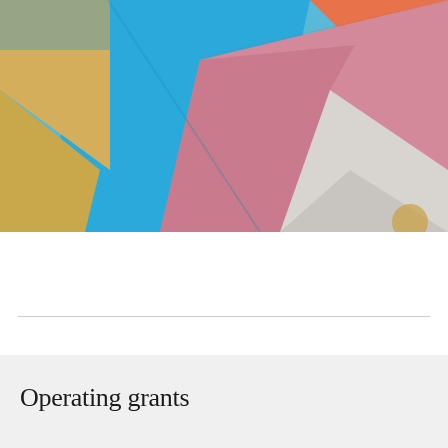[Figure (illustration): Abstract geometric 3D shapes featuring colored panels: blue, orange, pink/mauve, gold/tan, and light gray arranged in angular overlapping planes]
Operating grants